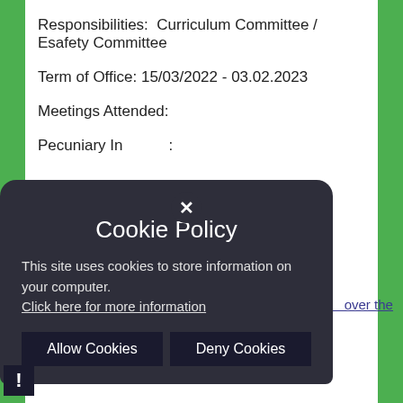Responsibilities:  Curriculum Committee / Esafety Committee
Term of Office: 15/03/2022 - 03.02.2023
Meetings Attended:
Pecuniary Interests:
Governor meetings attended over the last 12 months:
A meeting on ... June 2022
... 2022
[Figure (screenshot): Cookie policy popup overlay with dark rounded background showing title 'Cookie Policy', text about site using cookies, and two buttons: 'Allow Cookies' and 'Deny Cookies'. A close (x) button at top.]